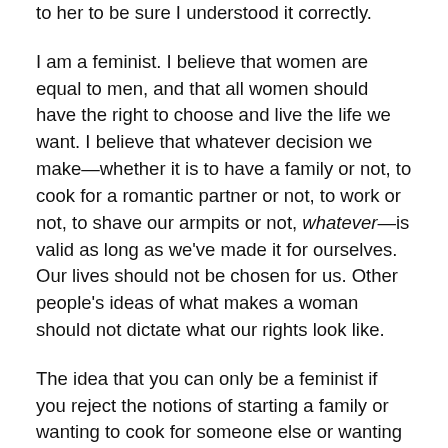to her to be sure I understood it correctly.
I am a feminist. I believe that women are equal to men, and that all women should have the right to choose and live the life we want. I believe that whatever decision we make—whether it is to have a family or not, to cook for a romantic partner or not, to work or not, to shave our armpits or not, whatever—is valid as long as we've made it for ourselves. Our lives should not be chosen for us. Other people's ideas of what makes a woman should not dictate what our rights look like.
The idea that you can only be a feminist if you reject the notions of starting a family or wanting to cook for someone else or wanting to feel better about your body, is ludicrous. My daughter brings me joy. Putting a meal that I've created in front of my husband every now and then makes